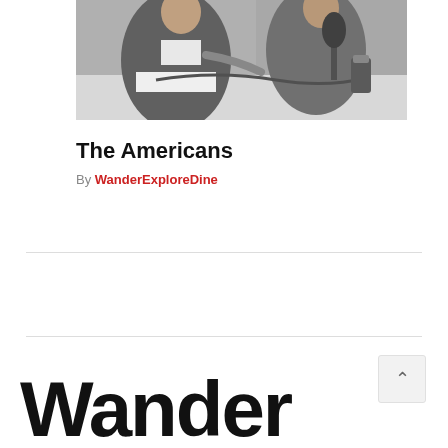[Figure (photo): Black and white photograph of two men sitting at a table, one in a suit appearing to write or sign something, with a microphone and other items on the table.]
The Americans
By WanderExploreDine
Wander